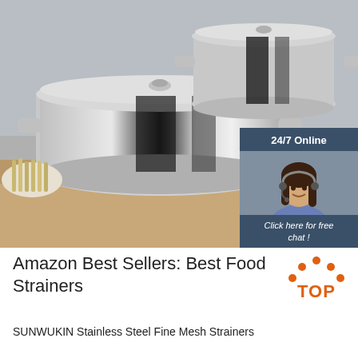[Figure (photo): Stainless steel stock pots with glass lids on a wooden surface with vegetables in background. Overlay shows a 24/7 online chat box with a customer service representative wearing a headset, and an orange QUOTATION button.]
[Figure (logo): TOP logo with orange dots arranged in an arc above orange bold text reading TOP]
Amazon Best Sellers: Best Food Strainers
SUNWUKIN Stainless Steel Fine Mesh Strainers